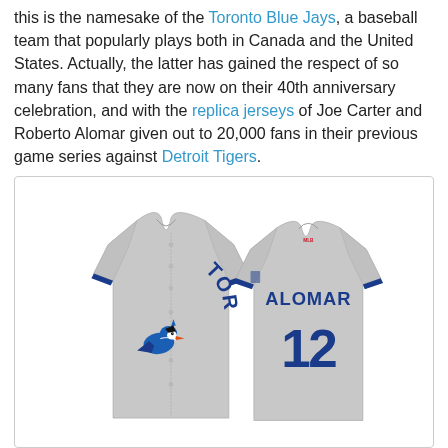this is the namesake of the Toronto Blue Jays, a baseball team that popularly plays both in Canada and the United States. Actually, the latter has gained the respect of so many fans that they are now on their 40th anniversary celebration, and with the replica jerseys of Joe Carter and Roberto Alomar given out to 20,000 fans in their previous game series against Detroit Tigers.
[Figure (photo): Front and back view of a gray Toronto Blue Jays replica jersey. The front reads TORONTO in blue arc lettering with the Blue Jays logo (blue jay bird). The back shows ALOMAR and number 12 in blue lettering.]